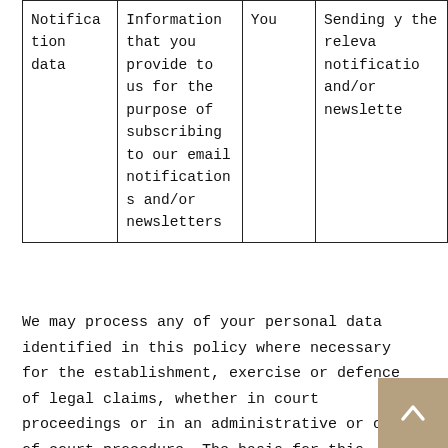| Notification data | Information that you provide to us for the purpose of subscribing to our email notifications and/or newsletters | You | Sending y the releva notificatio and/or newslette |
We may process any of your personal data identified in this policy where necessary for the establishment, exercise or defence of legal claims, whether in court proceedings or in an administrative or out-of-court procedure. The basis for this processing is our legitimate inter namely the protection and assertion of our legal